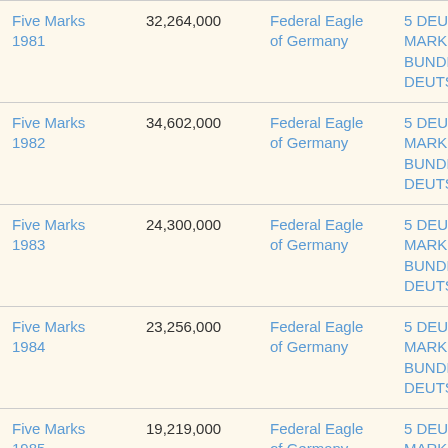| Name | Mintage | Obverse | Reverse |
| --- | --- | --- | --- |
| Five Marks 1981 | 32,264,000 | Federal Eagle of Germany | 5 DEUTSCHE MARK · BUNDESREPUBLIK DEUTSCHLAND · |
| Five Marks 1982 | 34,602,000 | Federal Eagle of Germany | 5 DEUTSCHE MARK · BUNDESREPUBLIK DEUTSCHLAND · |
| Five Marks 1983 | 24,300,000 | Federal Eagle of Germany | 5 DEUTSCHE MARK · BUNDESREPUBLIK DEUTSCHLAND · |
| Five Marks 1984 | 23,256,000 | Federal Eagle of Germany | 5 DEUTSCHE MARK · BUNDESREPUBLIK DEUTSCHLAND · |
| Five Marks 1985 | 19,219,000 | Federal Eagle of Germany | 5 DEUTSCHE MARK · BUNDESREPUBLIK DEUTSCHLAND · |